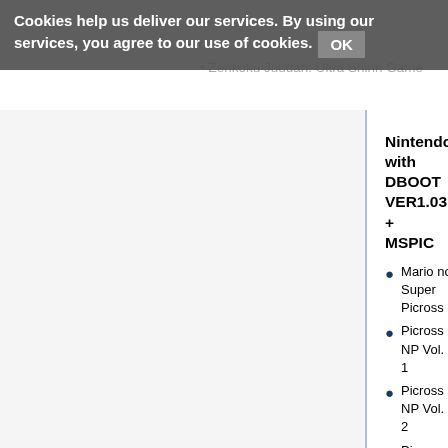Cookies help us deliver our services. By using our services, you agree to our use of cookies. OK
Zenkoku Juudan: Ultra Shinri Game
Nintendo with DBOOT VER1.03 + MSPIC
Mario no Super Picross
Picross NP Vol. 1
Picross NP Vol. 2
Picross NP Vol. 3
Picross NP Vol. 4
Picross NP Vol. 5
Picross NP Vol. 6
Picross NP Vol. 7
Picross NP Vol. 8
Zenkoku Juudan Ultra Shinri Game (Note: this is a leftover from Mario no Super Picross: the game itself uses a different build instead)
Unique builds